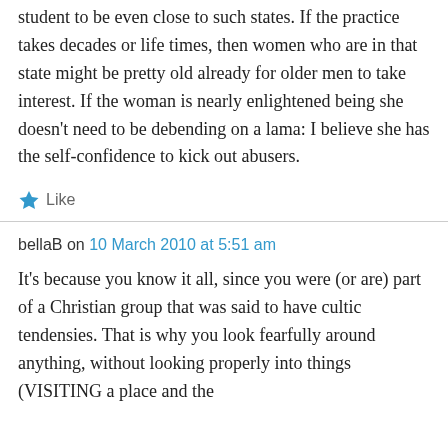student to be even close to such states. If the practice takes decades or life times, then women who are in that state might be pretty old already for older men to take interest. If the woman is nearly enlightened being she doesn't need to be debending on a lama: I believe she has the self-confidence to kick out abusers.
★ Like
bellaB on 10 March 2010 at 5:51 am
It's because you know it all, since you were (or are) part of a Christian group that was said to have cultic tendensies. That is why you look fearfully around anything, without looking properly into things (VISITING a place and the